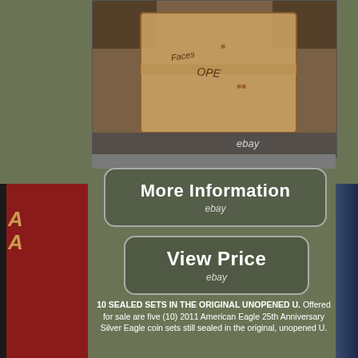[Figure (photo): Photo of a cardboard shipping box with handwritten markings, shown from above on a dark surface. eBay watermark visible.]
[Figure (other): eBay listing button: More Information with ebay logo]
[Figure (other): eBay listing button: View Price with ebay logo]
10 SEALED SETS IN THE ORIGINAL UNOPENED U. Offered for sale are five (10) 2011 American Eagle 25th Anniversary Silver Eagle coin sets still sealed in the original, unopened U.
Mint of 11/12/11 making these sets eligible for the PCGS "First Strike" designation. Mint in under 5 hours. Each set includes five coins for a total of 50 coins in this sealed box. Each of these 10 sets includes the following coins.
American Eagle Silver Uncirculated "W" mint